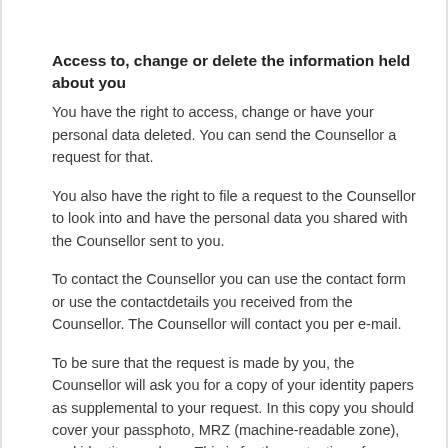Access to, change or delete the information held about you
You have the right to access, change or have your personal data deleted. You can send the Counsellor a request for that.
You also have the right to file a request to the Counsellor to look into and have the personal data you shared with the Counsellor sent to you.
To contact the Counsellor you can use the contact form or use the contactdetails you received from the Counsellor. The Counsellor will contact you per e-mail.
To be sure that the request is made by you, the Counsellor will ask you for a copy of your identity papers as supplemental to your request. In this copy you should cover your passphoto, MRZ (machine-readable zone), and identity numbers. This is for the protection of your